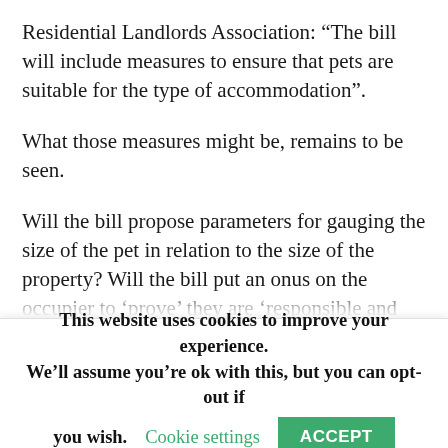Residential Landlords Association: “The bill will include measures to ensure that pets are suitable for the type of accommodation”.
What those measures might be, remains to be seen.
Will the bill propose parameters for gauging the size of the pet in relation to the size of the property? Will the bill put an onus on the occupier to ‘prove’ they are ‘responsible and…
This website uses cookies to improve your experience. We’ll assume you’re ok with this, but you can opt-out if you wish.  Cookie settings  ACCEPT